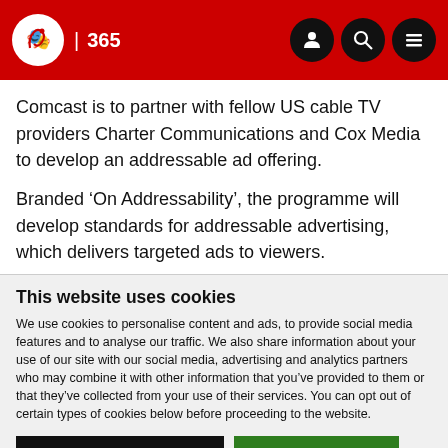IBC 365
Comcast is to partner with fellow US cable TV providers Charter Communications and Cox Media to develop an addressable ad offering.
Branded ‘On Addressability’, the programme will develop standards for addressable advertising, which delivers targeted ads to viewers.
This website uses cookies
We use cookies to personalise content and ads, to provide social media features and to analyse our traffic. We also share information about your use of our site with our social media, advertising and analytics partners who may combine it with other information that you’ve provided to them or that they’ve collected from your use of their services. You can opt out of certain types of cookies below before proceeding to the website.
Use necessary cookies only | Allow all cookies
Show details